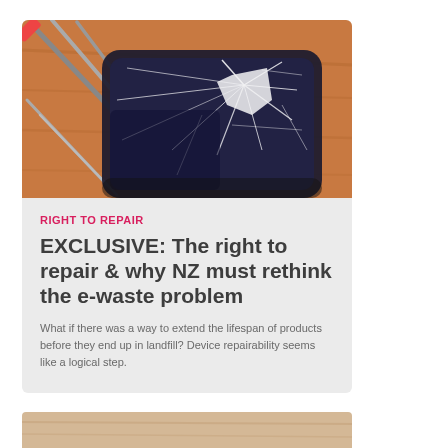[Figure (photo): A cracked smartphone screen lying on a wooden surface surrounded by repair tools including screwdrivers and tweezers]
RIGHT TO REPAIR
EXCLUSIVE: The right to repair & why NZ must rethink the e-waste problem
What if there was a way to extend the lifespan of products before they end up in landfill? Device repairability seems like a logical step.
[Figure (photo): Partial view of what appears to be a wooden surface or object, bottom of page]